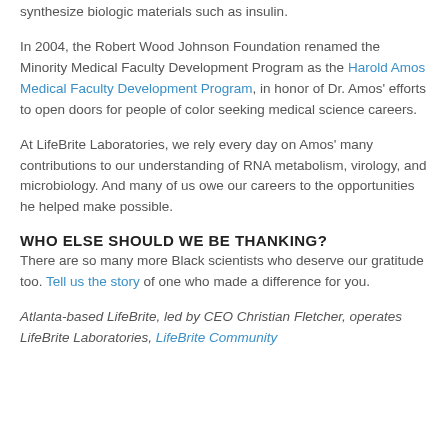synthesize biologic materials such as insulin.
In 2004, the Robert Wood Johnson Foundation renamed the Minority Medical Faculty Development Program as the Harold Amos Medical Faculty Development Program, in honor of Dr. Amos' efforts to open doors for people of color seeking medical science careers.
At LifeBrite Laboratories, we rely every day on Amos' many contributions to our understanding of RNA metabolism, virology, and microbiology. And many of us owe our careers to the opportunities he helped make possible.
WHO ELSE SHOULD WE BE THANKING?
There are so many more Black scientists who deserve our gratitude too. Tell us the story of one who made a difference for you.
Atlanta-based LifeBrite, led by CEO Christian Fletcher, operates LifeBrite Laboratories, LifeBrite Community